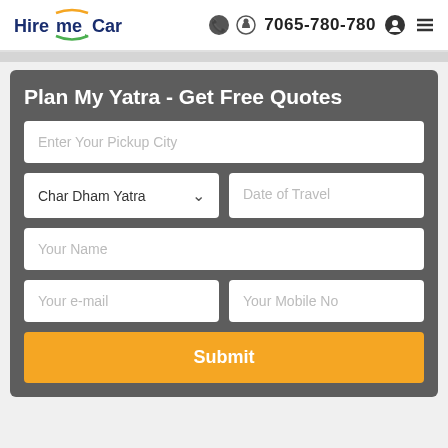Hire me Car | 7065-780-780
Plan My Yatra - Get Free Quotes
Enter Your Pickup City
Char Dham Yatra | Date of Travel
Your Name
Your e-mail | Your Mobile No
Submit